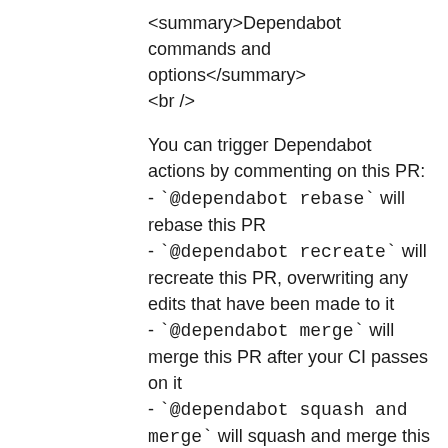<summary>Dependabot commands and options</summary>
<br />

You can trigger Dependabot actions by commenting on this PR:
- `@dependabot rebase` will rebase this PR
- `@dependabot recreate` will recreate this PR, overwriting any edits that have been made to it
- `@dependabot merge` will merge this PR after your CI passes on it
- `@dependabot squash and merge` will squash and merge this PR after your CI passes on it
- `@dependabot cancel merge` will cancel a previously requested merge and block automerging
- `@dependabot reopen` will reopen this PR if it is closed
- `@dependabot close` will close this PR and stop Dependabot recreating it. You can achieve the